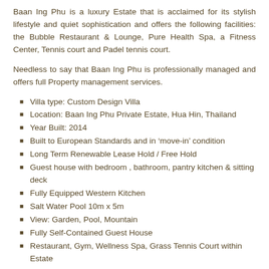Baan Ing Phu is a luxury Estate that is acclaimed for its stylish lifestyle and quiet sophistication and offers the following facilities: the Bubble Restaurant & Lounge, Pure Health Spa, a Fitness Center, Tennis court and Padel tennis court.
Needless to say that Baan Ing Phu is professionally managed and offers full Property management services.
Villa type: Custom Design Villa
Location: Baan Ing Phu Private Estate, Hua Hin, Thailand
Year Built: 2014
Built to European Standards and in 'move-in' condition
Long Term Renewable Lease Hold / Free Hold
Guest house with bedroom , bathroom, pantry kitchen & sitting deck
Fully Equipped Western Kitchen
Salt Water Pool 10m x 5m
View: Garden, Pool, Mountain
Fully Self-Contained Guest House
Restaurant, Gym, Wellness Spa, Grass Tennis Court within Estate